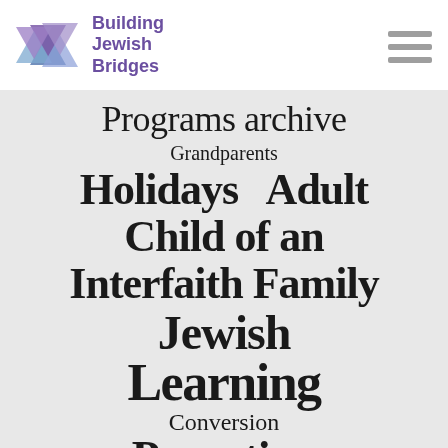[Figure (logo): Building Jewish Bridges logo with Star of David made of overlapping blue and purple triangles, and text 'Building Jewish Bridges' in purple]
[Figure (infographic): Tag cloud on light gray background with topics: Programs archive, Grandparents, Holidays, Adult, Child of an Interfaith Family, Jewish, Learning, Conversion, Parenting, Passover, Children (partially visible)]